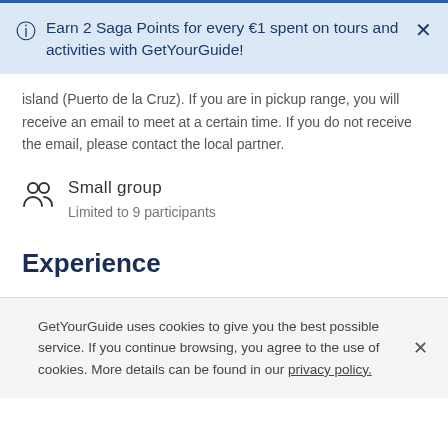Earn 2 Saga Points for every €1 spent on tours and activities with GetYourGuide!
island (Puerto de la Cruz). If you are in pickup range, you will receive an email to meet at a certain time. If you do not receive the email, please contact the local partner.
Small group
Limited to 9 participants
Experience
GetYourGuide uses cookies to give you the best possible service. If you continue browsing, you agree to the use of cookies. More details can be found in our privacy policy.